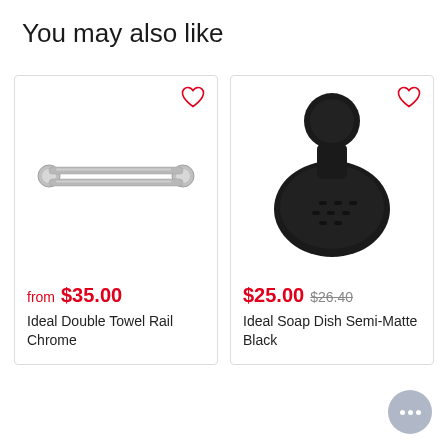You may also like
[Figure (photo): Chrome double towel rail with two horizontal bars and circular end caps]
from $35.00
Ideal Double Towel Rail Chrome
[Figure (photo): Semi-matte black oval soap dish with circular wall mount bracket]
$25.00 $26.40
Ideal Soap Dish Semi-Matte Black